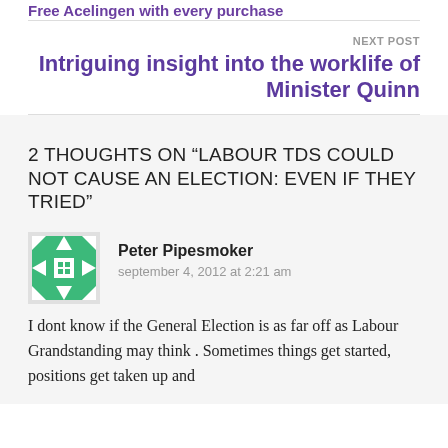Free Acelingen with every purchase
NEXT POST
Intriguing insight into the worklife of Minister Quinn
2 THOUGHTS ON “LABOUR TDS COULD NOT CAUSE AN ELECTION: EVEN IF THEY TRIED”
Peter Pipesmoker
september 4, 2012 at 2:21 am
I dont know if the General Election is as far off as Labour Grandstanding may think . Sometimes things get started, positions get taken up and